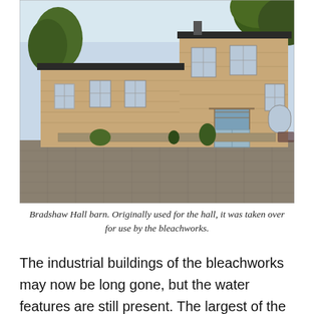[Figure (photo): Photograph of Bradshaw Hall barn, a two-storey stone building with a cobbled courtyard in the foreground, trees visible in the background. The building has multiple windows and an ornate entrance porch.]
Bradshaw Hall barn. Originally used for the hall, it was taken over for use by the bleachworks.
The industrial buildings of the bleachworks may now be long gone, but the water features are still present. The largest of the lodges are part of Bradshaw Hall fisheries. In the nature reserve there are a number of